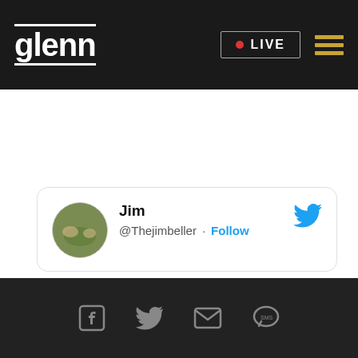glenn | LIVE
[Figure (screenshot): White empty content area]
Jim @Thejimbeller · Follow
Footer with Facebook, Twitter, Email, SMS icons